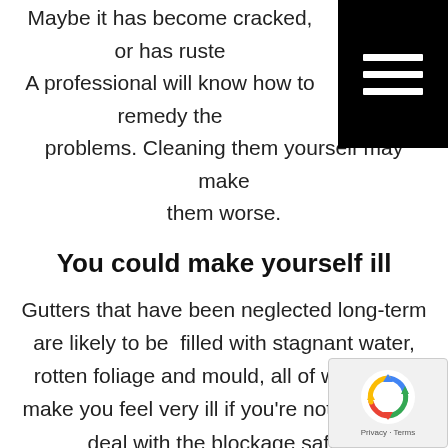Maybe it has become cracked, or has rusted. A professional will know how to remedy these problems. Cleaning them yourself may make them worse.
You could make yourself ill
Gutters that have been neglected long-term are likely to be filled with stagnant water, rotten foliage and mould, all of which can make you feel very ill if you're not trained to deal with the blockage safely.
WHY SHOULD I USE A PROFESSIONAL GUTTER CLEANING SERVICES